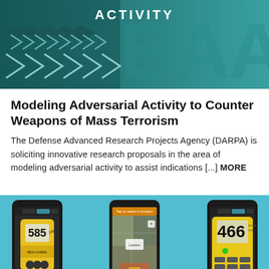[Figure (illustration): Teal/dark teal banner image with chevron arrow patterns and large bold 'BAA' text watermark, with 'ACTIVITY' written in white at the top center. Abstract geometric security/defense themed graphic.]
Modeling Adversarial Activity to Counter Weapons of Mass Terrorism
The Defense Advanced Research Projects Agency (DARPA) is soliciting innovative research proposals in the area of modeling adversarial activity to assist indications [...] MORE
[Figure (photo): Three smartphones displayed side by side on a light blue background. Left phone shows a yellow radiation/dosimeter device reading 585. Middle phone shows a map/satellite view with heat overlay. Right phone shows a yellow radiation meter device reading 466. These appear to be radiation detection app screenshots.]